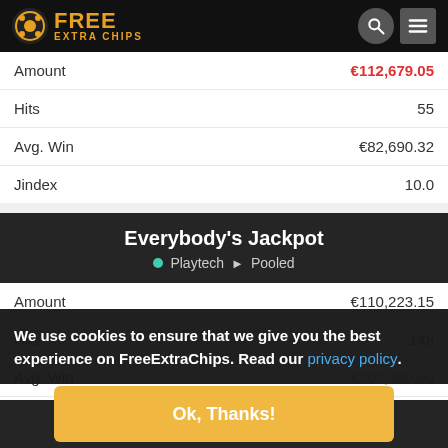FREE EXTRA CHIPS
|  |  |
| --- | --- |
| Amount | €112,679.05 |
| Hits | 55 |
| Avg. Win | €82,690.32 |
| Jindex | 10.0 |
Everybody's Jackpot • Playtech ▶ Pooled
|  |  |
| --- | --- |
| Amount | €110,223.15 |
| Hits | 148 |
| Avg. Win | €202,990.60 |
We use cookies to ensure that we give you the best experience on FreeExtraChips. Read our privacy policy.
Ok, Thanks!